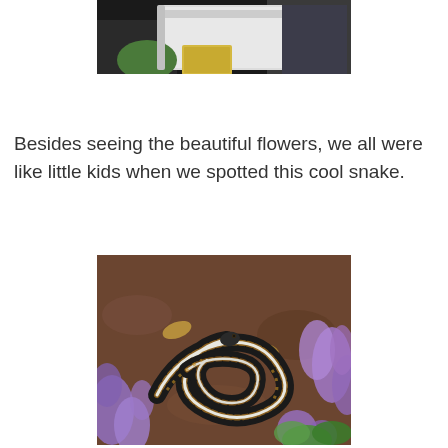[Figure (photo): Partial photo at top of page showing people with a white cooler/box, partially cropped]
Besides seeing the beautiful flowers, we all were like little kids when we spotted this cool snake.
[Figure (photo): Close-up photo of a garter snake coiled among purple flowers and green leaves on brown dirt ground]